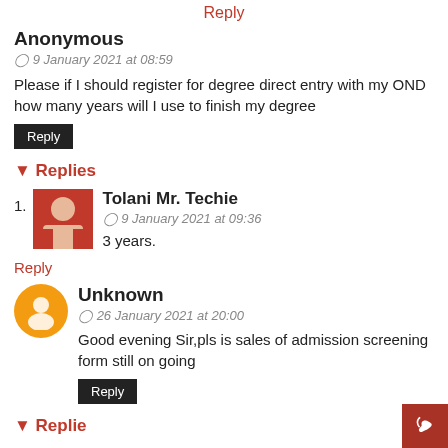Reply
Anonymous
9 January 2021 at 08:59
Please if I should register for degree direct entry with my OND how many years will I use to finish my degree
Reply
Replies
Tolani Mr. Techie
9 January 2021 at 09:36
3 years.
Reply
Unknown
26 January 2021 at 20:00
Good evening Sir,pls is sales of admission screening form still on going
Reply
Replies